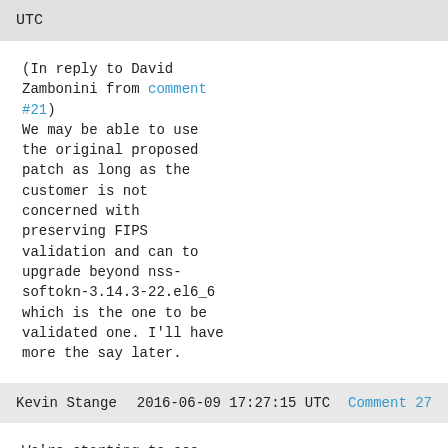UTC
(In reply to David Zambonini from comment #21)
We may be able to use the original proposed patch as long as the customer is not concerned with preserving FIPS validation and can to upgrade beyond nss-softokn-3.14.3-22.el6_6 which is the one to be validated one. I'll have more the say later.
Kevin Stange    2016-06-09 17:27:15 UTC    Comment 27
We're starting to see this issue now that 6.8 has released with NSS 3.21, which includes a GCM cipher suite.